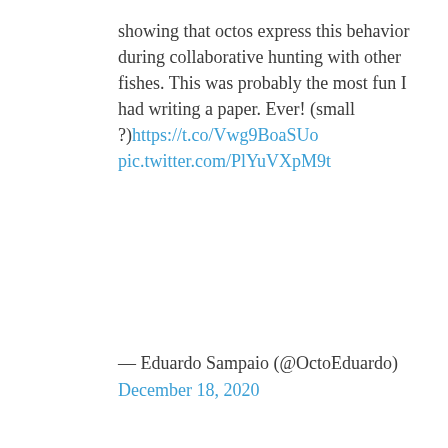showing that octos express this behavior during collaborative hunting with other fishes. This was probably the most fun I had writing a paper. Ever! (small ?)https://t.co/Vwg9BoaSUo pic.twitter.com/PlYuVXpM9t
— Eduardo Sampaio (@OctoEduardo) December 18, 2020